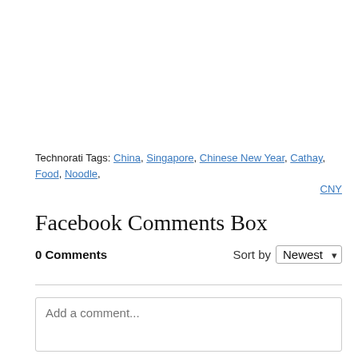Technorati Tags: China, Singapore, Chinese New Year, Cathay, Food, Noodle, CNY
Facebook Comments Box
0 Comments    Sort by Newest
Add a comment...